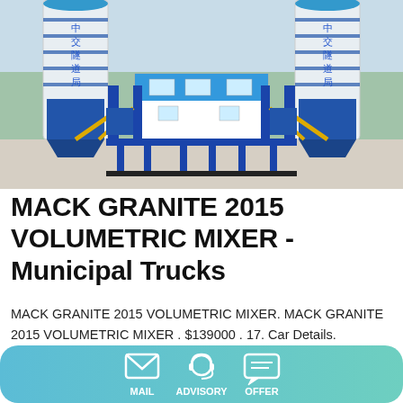[Figure (photo): Industrial concrete batch plant with blue and white silos marked with Chinese characters (中交隧道局), blue steel framework structure, yellow conveyor pipes, and a white/blue office building in the center. Outdoor setting with trees in background.]
MACK GRANITE 2015 VOLUMETRIC MIXER - Municipal Trucks
MACK GRANITE 2015 VOLUMETRIC MIXER. MACK GRANITE 2015 VOLUMETRIC MIXER . $139000 . 17. Car Details. Condition. Used. VIN / Serial. N/A. Class. Class 8 (GVW 33001 - 150000) Year. 2015. Make. Mack. Model. Granite. We are proud to say that at Municipal Trucks and
MAIL   ADVISORY   OFFER